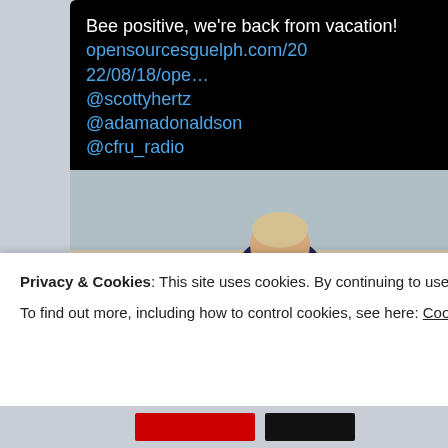Bee positive, we're back from vacation! opensourcesguelph.com/2022/08/18/ope… @scottyhertz @adamadonaldson @cfru_radio
[Figure (photo): Man in dark suit speaking at an outdoor podium with a teal sign reading 'BUILDING ONTARIO BÂTIR L'ONTARI']
opensourcesguelph.com
Privacy & Cookies: This site uses cookies. By continuing to use this website, you agree to their use.
To find out more, including how to control cookies, see here: Cookie Policy
Close and accept